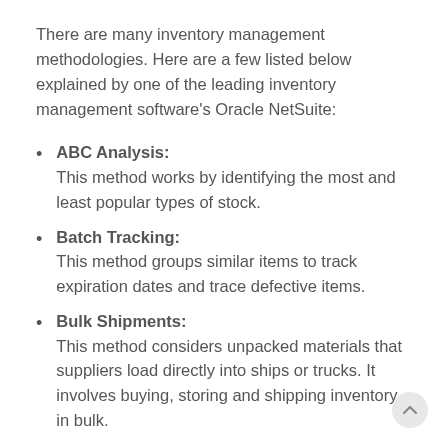There are many inventory management methodologies. Here are a few listed below explained by one of the leading inventory management software's Oracle NetSuite:
ABC Analysis: This method works by identifying the most and least popular types of stock.
Batch Tracking: This method groups similar items to track expiration dates and trace defective items.
Bulk Shipments: This method considers unpacked materials that suppliers load directly into ships or trucks. It involves buying, storing and shipping inventory in bulk.
Consignment: